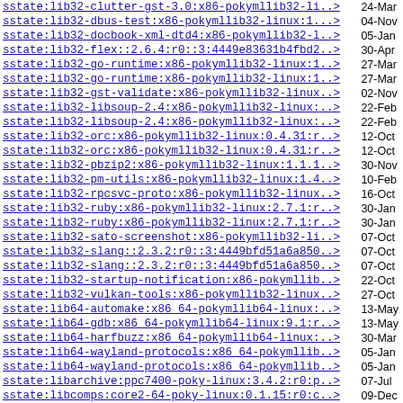| Package | Date |
| --- | --- |
| sstate:lib32-clutter-gst-3.0:x86-pokymllib32-li..> | 24-Mar |
| sstate:lib32-dbus-test:x86-pokymllib32-linux:1...> | 04-Nov |
| sstate:lib32-docbook-xml-dtd4:x86-pokymllib32-l..> | 05-Jan |
| sstate:lib32-flex::2.6.4:r0::3:4449e83631b4fbd2..> | 30-Apr |
| sstate:lib32-go-runtime:x86-pokymllib32-linux:1..> | 27-Mar |
| sstate:lib32-go-runtime:x86-pokymllib32-linux:1..> | 27-Mar |
| sstate:lib32-gst-validate:x86-pokymllib32-linux..> | 02-Nov |
| sstate:lib32-libsoup-2.4:x86-pokymllib32-linux:..> | 22-Feb |
| sstate:lib32-libsoup-2.4:x86-pokymllib32-linux:..> | 22-Feb |
| sstate:lib32-orc:x86-pokymllib32-linux:0.4.31:r..> | 12-Oct |
| sstate:lib32-orc:x86-pokymllib32-linux:0.4.31:r..> | 12-Oct |
| sstate:lib32-pbzip2:x86-pokymllib32-linux:1.1.1..> | 30-Nov |
| sstate:lib32-pm-utils:x86-pokymllib32-linux:1.4..> | 10-Feb |
| sstate:lib32-rpcsvc-proto:x86-pokymllib32-linux..> | 16-Oct |
| sstate:lib32-ruby:x86-pokymllib32-linux:2.7.1:r..> | 30-Jan |
| sstate:lib32-ruby:x86-pokymllib32-linux:2.7.1:r..> | 30-Jan |
| sstate:lib32-sato-screenshot:x86-pokymllib32-li..> | 07-Oct |
| sstate:lib32-slang::2.3.2:r0::3:4449bfd51a6a850..> | 07-Oct |
| sstate:lib32-slang::2.3.2:r0::3:4449bfd51a6a850..> | 07-Oct |
| sstate:lib32-startup-notification:x86-pokymllib..> | 22-Oct |
| sstate:lib32-vulkan-tools:x86-pokymllib32-linux..> | 27-Oct |
| sstate:lib64-automake:x86_64-pokymllib64-linux:..> | 13-May |
| sstate:lib64-gdb:x86_64-pokymllib64-linux:9.1:r..> | 13-May |
| sstate:lib64-harfbuzz:x86_64-pokymllib64-linux:..> | 30-Mar |
| sstate:lib64-wayland-protocols:x86_64-pokymllib..> | 05-Jan |
| sstate:lib64-wayland-protocols:x86_64-pokymllib..> | 05-Jan |
| sstate:libarchive:ppc7400-poky-linux:3.4.2:r0:p..> | 07-Jul |
| sstate:libcomps:core2-64-poky-linux:0.1.15:r0:c..> | 09-Dec |
| sstate:libepoxy:core2-64-poky-linux:1.5.4:r0:co..> | 28-Aug |
| sstate:liberror-perl:corei7-64-poky-linux:0.170..> | 21-Aug |